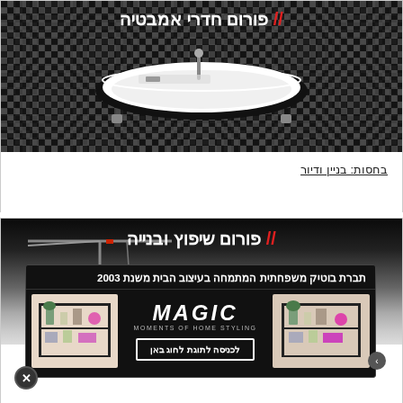[Figure (photo): Bathroom forum banner with black and white checkerboard background and a white bathtub in the center]
// פורום חדרי אמבטיה
בחסות: בניין ודיור
[Figure (photo): Renovation forum banner with dark gradient background and construction cranes]
// פורום שיפוץ ובנייה
[Figure (infographic): Advertisement popup for MAGIC MOMENTS OF HOME STYLING - a boutique family company for home design since 2003, showing shelf furniture]
תברת בוטיק משפחתית המתמחה בעיצוב הבית משנת 2003
לכניסה לתוגת לחוג באן